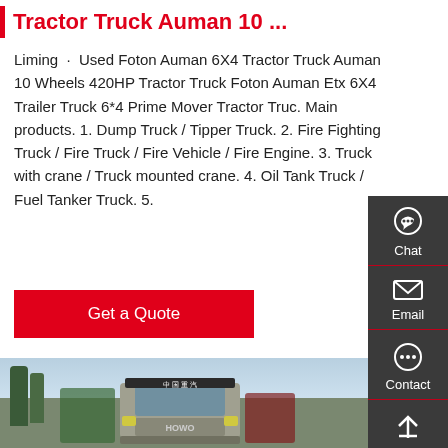Tractor Truck Auman 10 ...
Liming · Used Foton Auman 6X4 Tractor Truck Auman 10 Wheels 420HP Tractor Truck Foton Auman Etx 6X4 Trailer Truck 6*4 Prime Mover Tractor Truc. Main products. 1. Dump Truck / Tipper Truck. 2. Fire Fighting Truck / Fire Truck / Fire Vehicle / Fire Engine. 3. Truck with crane / Truck mounted crane. 4. Oil Tank Truck / Fuel Tanker Truck. 5.
[Figure (other): Red 'Get a Quote' button]
[Figure (other): Sidebar with Chat, Email, Contact, Top icons on dark background]
[Figure (photo): Photo of HOWO tractor trucks parked outdoors with trees in background]